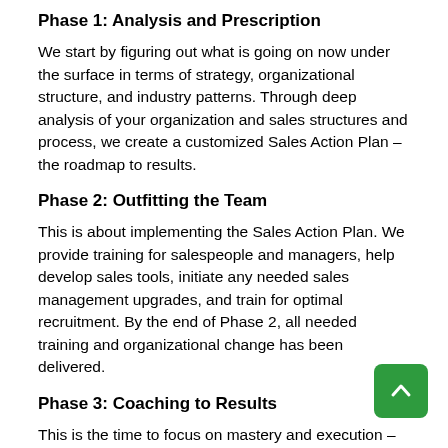Phase 1: Analysis and Prescription
We start by figuring out what is going on now under the surface in terms of strategy, organizational structure, and industry patterns. Through deep analysis of your organization and sales structures and process, we create a customized Sales Action Plan – the roadmap to results.
Phase 2: Outfitting the Team
This is about implementing the Sales Action Plan. We provide training for salespeople and managers, help develop sales tools, initiate any needed sales management upgrades, and train for optimal recruitment. By the end of Phase 2, all needed training and organizational change has been delivered.
Phase 3: Coaching to Results
This is the time to focus on mastery and execution – getting out of the classroom and into real sales situations where your team can apply the theory to your actual business. Initially, we work alongside